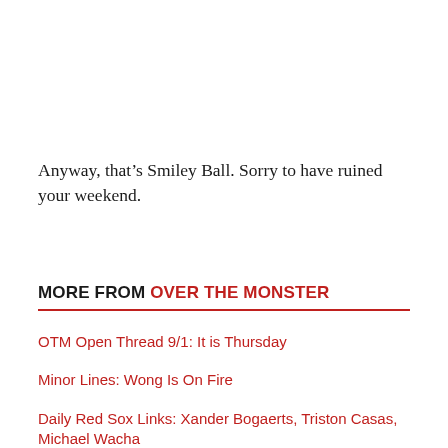Anyway, that’s Smiley Ball. Sorry to have ruined your weekend.
MORE FROM OVER THE MONSTER
OTM Open Thread 9/1: It is Thursday
Minor Lines: Wong Is On Fire
Daily Red Sox Links: Xander Bogaerts, Triston Casas, Michael Wacha